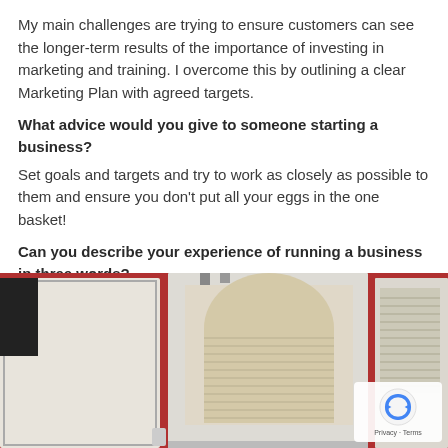My main challenges are trying to ensure customers can see the longer-term results of the importance of investing in marketing and training. I overcome this by outlining a clear Marketing Plan with agreed targets.
What advice would you give to someone starting a business?
Set goals and targets and try to work as closely as possible to them and ensure you don’t put all your eggs in the one basket!
Can you describe your experience of running a business in three words?
Challenging, hard work, rewarding!
[Figure (photo): Interior office or business space showing cubicle dividers/panels with windows showing venetian blinds, walls painted dark red/burgundy. A reCAPTCHA/privacy badge overlay in bottom right corner.]